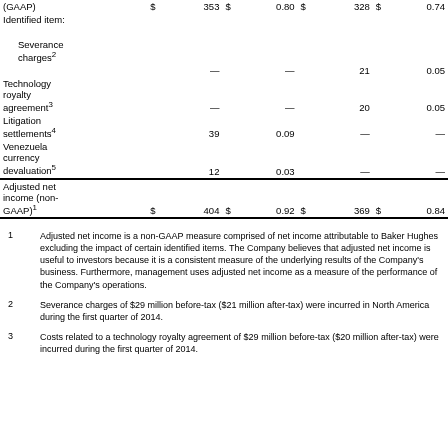|  | $ |  | $ |  | $ |  | $ |  |
| --- | --- | --- | --- | --- | --- | --- | --- | --- |
| (GAAP) | $ | 353 | $ | 0.80 | $ | 328 | $ | 0.74 |
| Identified item: |  |  |  |  |  |  |  |  |
| Severance charges² |  | — |  | — |  | 21 |  | 0.05 |
| Technology royalty agreement³ |  | — |  | — |  | 20 |  | 0.05 |
| Litigation settlements⁴ |  | 39 |  | 0.09 |  | — |  | — |
| Venezuela currency devaluation⁵ |  | 12 |  | 0.03 |  | — |  | — |
| Adjusted net income (non-GAAP)¹ | $ | 404 | $ | 0.92 | $ | 369 | $ | 0.84 |
1   Adjusted net income is a non-GAAP measure comprised of net income attributable to Baker Hughes excluding the impact of certain identified items. The Company believes that adjusted net income is useful to investors because it is a consistent measure of the underlying results of the Company's business. Furthermore, management uses adjusted net income as a measure of the performance of the Company's operations.
2   Severance charges of $29 million before-tax ($21 million after-tax) were incurred in North America during the first quarter of 2014.
3   Costs related to a technology royalty agreement of $29 million before-tax ($20 million after-tax) were incurred during the first quarter of 2014.